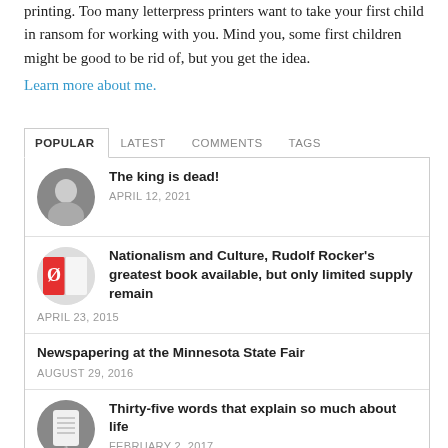printing. Too many letterpress printers want to take your first child in ransom for working with you. Mind you, some first children might be good to be rid of, but you get the idea.
Learn more about me.
POPULAR | LATEST | COMMENTS | TAGS
The king is dead! — APRIL 12, 2021
Nationalism and Culture, Rudolf Rocker's greatest book available, but only limited supply remain — APRIL 23, 2015
Newspapering at the Minnesota State Fair — AUGUST 29, 2016
Thirty-five words that explain so much about life — FEBRUARY 2, 2017